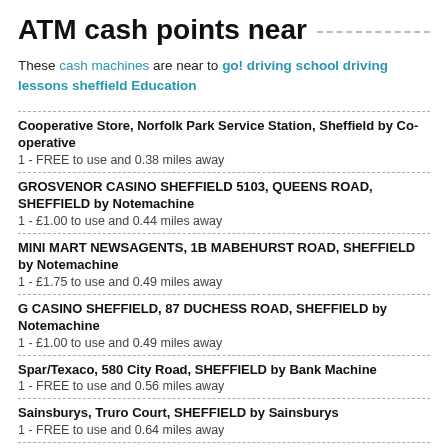ATM cash points near
These cash machines are near to go! driving school driving lessons sheffield Education
Cooperative Store, Norfolk Park Service Station, Sheffield by Co-operative
1 - FREE to use and 0.38 miles away
GROSVENOR CASINO SHEFFIELD 5103, QUEENS ROAD, SHEFFIELD by Notemachine
1 - £1.00 to use and 0.44 miles away
MINI MART NEWSAGENTS, 1B MABEHURST ROAD, SHEFFIELD by Notemachine
1 - £1.75 to use and 0.49 miles away
G CASINO SHEFFIELD, 87 DUCHESS ROAD, SHEFFIELD by Notemachine
1 - £1.00 to use and 0.49 miles away
Spar/Texaco, 580 City Road, SHEFFIELD by Bank Machine
1 - FREE to use and 0.56 miles away
Sainsburys, Truro Court, SHEFFIELD by Sainsburys
1 - FREE to use and 0.64 miles away
Near places